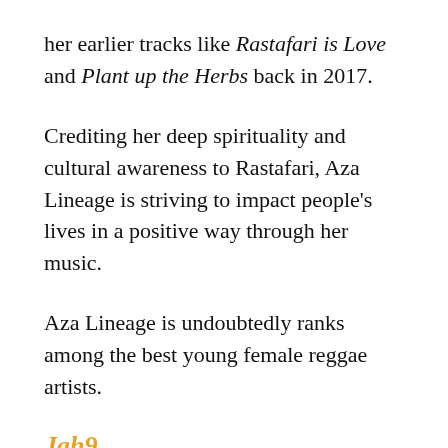her earlier tracks like Rastafari is Love and Plant up the Herbs back in 2017.
Crediting her deep spirituality and cultural awareness to Rastafari, Aza Lineage is striving to impact people's lives in a positive way through her music.
Aza Lineage is undoubtedly ranks among the best young female reggae artists.
Jah9
Jah9, the regal and resplendent Jamaican reggae artist, is highly spiritually conscious and, as a certified Kemetic Yogini, stays true to her roots